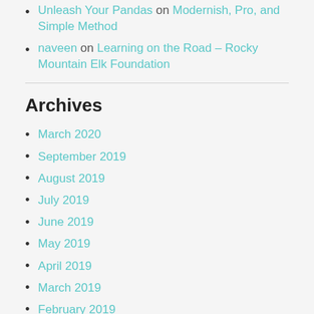Unleash Your Pandas on Modernish, Pro, and Simple Method
naveen on Learning on the Road – Rocky Mountain Elk Foundation
Archives
March 2020
September 2019
August 2019
July 2019
June 2019
May 2019
April 2019
March 2019
February 2019